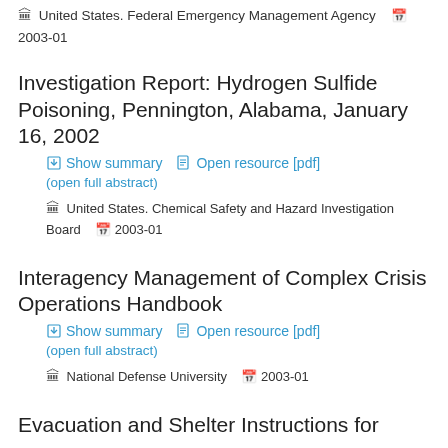🏛 United States. Federal Emergency Management Agency    📅 2003-01
Investigation Report: Hydrogen Sulfide Poisoning, Pennington, Alabama, January 16, 2002
Show summary   Open resource [pdf]   (open full abstract)
🏛 United States. Chemical Safety and Hazard Investigation Board    📅 2003-01
Interagency Management of Complex Crisis Operations Handbook
Show summary   Open resource [pdf]   (open full abstract)
🏛 National Defense University    📅 2003-01
Evacuation and Shelter Instructions for